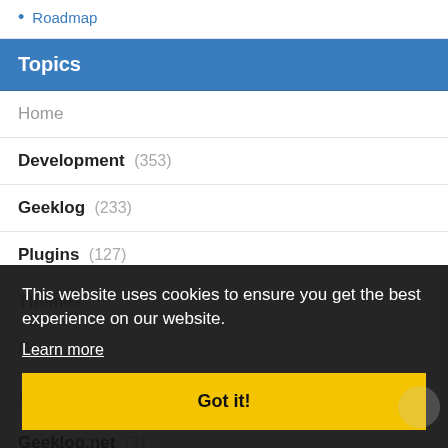Roadmap
Topics
Home
Development (353)
Geeklog (233)
Plugins (127)
Themes (6)
News (387)
Announcements (272)
Geeklog.net (31)
This website uses cookies to ensure you get the best experience on our website.
Learn more
Got it!